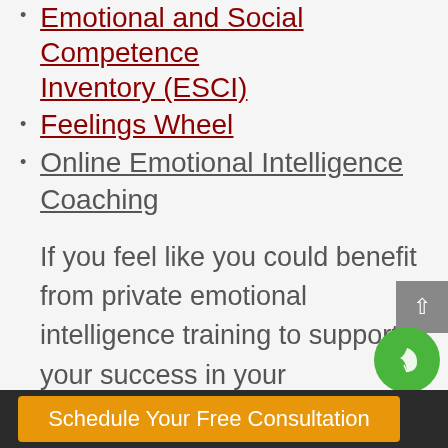Emotional and Social Competence Inventory (ESCI)
Feelings Wheel
Online Emotional Intelligence Coaching
If you feel like you could benefit from private emotional intelligence training to support your success in your relationships, career, or overall wellness — we're here for you. Schedule your first, free consultation with an emotional intelligence coach on our team to get started.
Schedule Your Free Consultation